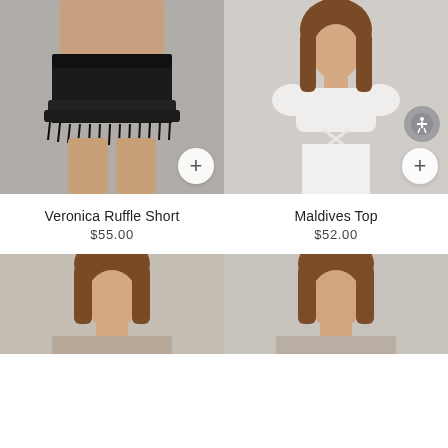[Figure (photo): Model wearing black ruffle fringe denim shorts, cropped view showing waist to legs on grey background]
[Figure (photo): Model wearing white off-shoulder puff-sleeve crop top and white long skirt with cross strap detail, full body on grey background]
Veronica Ruffle Short
$55.00
Maldives Top
$52.00
[Figure (photo): Model with brown hair, partial view from shoulders up, light background]
[Figure (photo): Model with brown hair, partial view from shoulders up, light background]